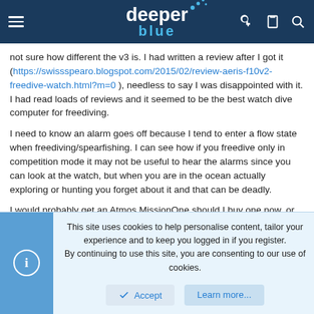deeper blue [website header with logo and navigation icons]
not sure how different the v3 is. I had written a review after I got it (https://swissspearo.blogspot.com/2015/02/review-aeris-f10v2-freedive-watch.html?m=0 ), needless to say I was disappointed with it. I had read loads of reviews and it seemed to be the best watch dive computer for freediving.
I need to know an alarm goes off because I tend to enter a flow state when freediving/spearfishing. I can see how if you freedive only in competition mode it may not be useful to hear the alarms since you can look at the watch, but when you are in the ocean actually exploring or hunting you forget about it and that can be deadly.
I would probably get an Atmos MissionOne should I buy one now, or wait for their Mission 2 when it comes out. It seems to tick most of my boxes.
This site uses cookies to help personalise content, tailor your experience and to keep you logged in if you register.
By continuing to use this site, you are consenting to our use of cookies.